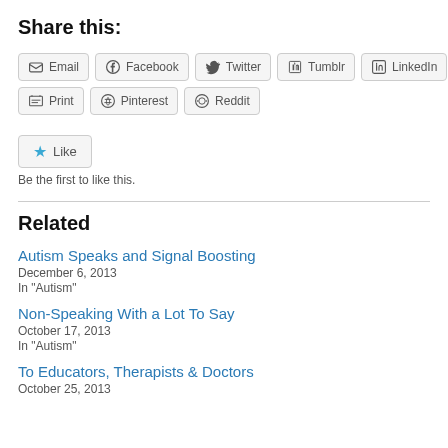Share this:
Email  Facebook  Twitter  Tumblr  LinkedIn  Print  Pinterest  Reddit
Like
Be the first to like this.
Related
Autism Speaks and Signal Boosting
December 6, 2013
In "Autism"
Non-Speaking With a Lot To Say
October 17, 2013
In "Autism"
To Educators, Therapists & Doctors
October 25, 2013